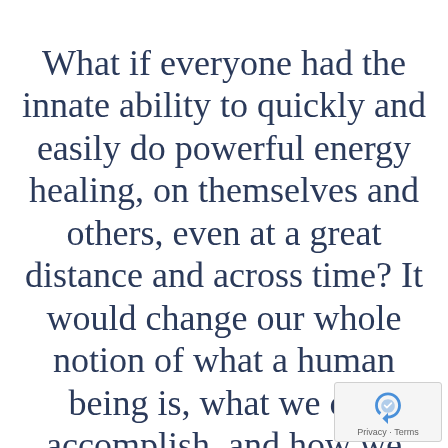What if everyone had the innate ability to quickly and easily do powerful energy healing, on themselves and others, even at a great distance and across time? It would change our whole notion of what a human being is, what we can accomplish, and how we can evolve our civilization. Everyone does have this inn…